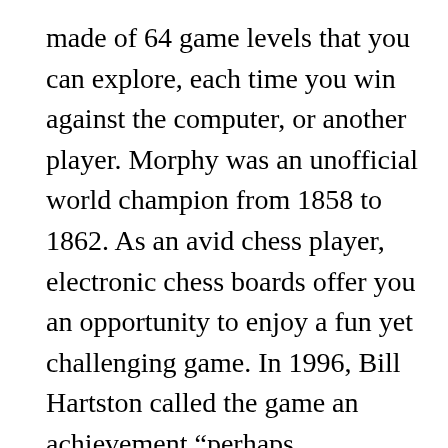made of 64 game levels that you can explore, each time you win against the computer, or another player. Morphy was an unofficial world champion from 1858 to 1862. As an avid chess player, electronic chess boards offer you an opportunity to enjoy a fun yet challenging game. In 1996, Bill Hartston called the game an achievement "perhaps unparalleled in chess literature". The first match began on 10 February 1996, in which Deep Blue became the first machine to win a chess game against a reigning world champion (Garry Kasparov) under regular time controls.However, Kasparov won three and drew two of the following five games, beating Deep Blue by a score of 4−2